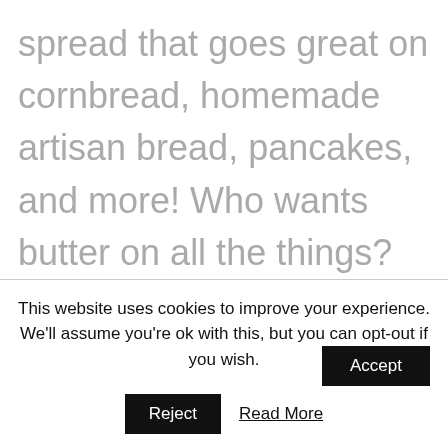spread that goes great on cornbread, homemade artisan bread, pancakes, and more! Who wants butter on all the things? This girl! I love spreading butter on bread, cornbread, and more. This deliciously sweet maple butter is perfect for that and more. One of my favorite things about this maple
This website uses cookies to improve your experience. We'll assume you're ok with this, but you can opt-out if you wish.